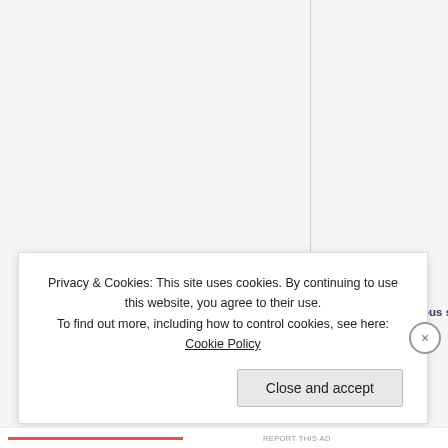[Figure (screenshot): Website page screenshot showing a vertical column divider, an anonymous user avatar (teal geometric pattern square icon), bold label 'Anonymous s' and text 'I feel like I've' partially visible in the right column]
Privacy & Cookies: This site uses cookies. By continuing to use this website, you agree to their use.
To find out more, including how to control cookies, see here: Cookie Policy
Close and accept